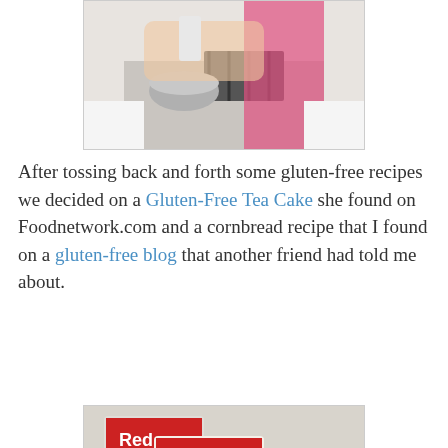[Figure (photo): Person cooking at a stove, pouring something into a mixing bowl]
After tossing back and forth some gluten-free recipes we decided on a Gluten-Free Tea Cake she found on Foodnetwork.com and a cornbread recipe that I found on a gluten-free blog that another friend had told me about.
[Figure (photo): Several bags of Bob's Red Mill gluten-free flour products including All Purpose Baking Flour and Cornmeal]